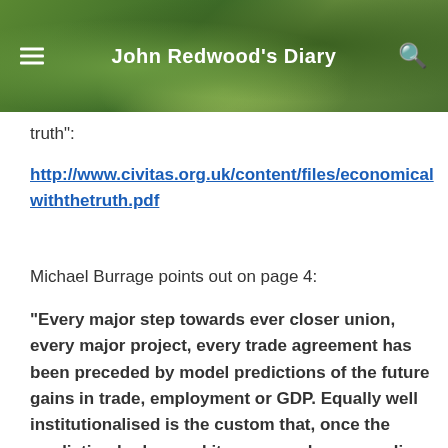John Redwood's Diary
truth":
http://www.civitas.org.uk/content/files/economicalwiththetruth.pdf
Michael Burrage points out on page 4:
“Every major step towards ever closer union, every major project, every trade agreement has been preceded by model predictions of the future gains in trade, employment or GDP. Equally well institutionalised is the custom that, once the prediction had served its purpose by persuading the doubtful and unwilling, the predictions are forgotten. Post facto assessments of them are extremely rare.”